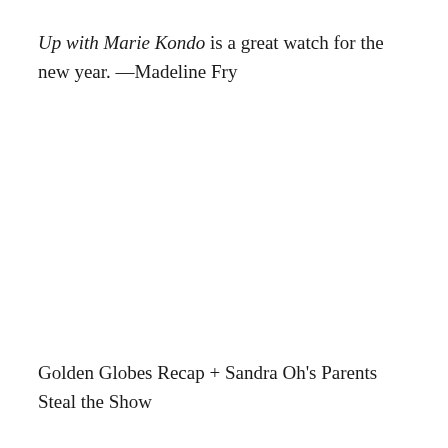Up with Marie Kondo is a great watch for the new year. —Madeline Fry
Golden Globes Recap + Sandra Oh's Parents Steal the Show